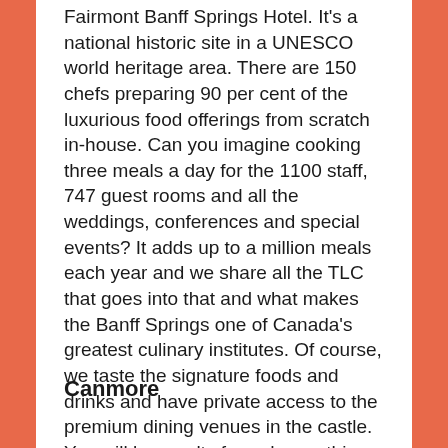Fairmont Banff Springs Hotel. It's a national historic site in a UNESCO world heritage area. There are 150 chefs preparing 90 per cent of the luxurious food offerings from scratch in-house. Can you imagine cooking three meals a day for the 1100 staff, 747 guest rooms and all the weddings, conferences and special events? It adds up to a million meals each year and we share all the TLC that goes into that and what makes the Banff Springs one of Canada's greatest culinary institutes. Of course, we taste the signature foods and drinks and have private access to the premium dining venues in the castle. You will be royalty for a day on this food tour.
Canmore